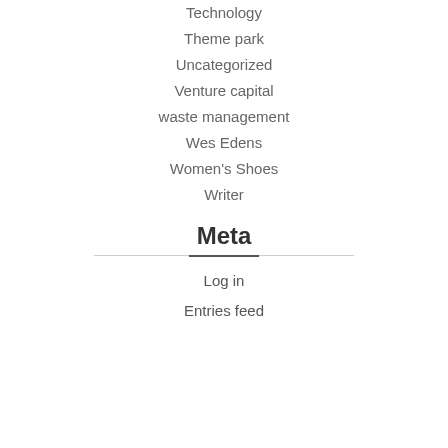Technology
Theme park
Uncategorized
Venture capital
waste management
Wes Edens
Women's Shoes
Writer
Meta
Log in
Entries feed